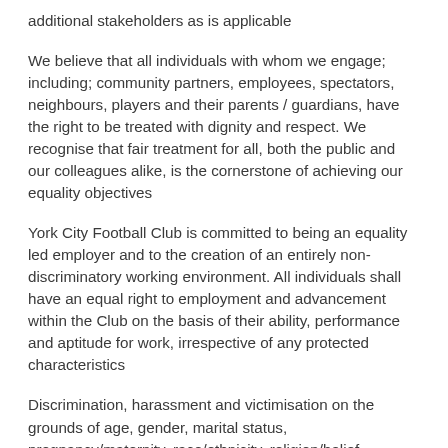additional stakeholders as is applicable
We believe that all individuals with whom we engage; including; community partners, employees, spectators, neighbours, players and their parents / guardians, have the right to be treated with dignity and respect. We recognise that fair treatment for all, both the public and our colleagues alike, is the cornerstone of achieving our equality objectives
York City Football Club is committed to being an equality led employer and to the creation of an entirely non-discriminatory working environment. All individuals shall have an equal right to employment and advancement within the Club on the basis of their ability, performance and aptitude for work, irrespective of any protected characteristics
Discrimination, harassment and victimisation on the grounds of age, gender, marital status, pregnancy/maternity, race/ethnicity, religion/belief, sexuality, disability, gender reassignment or any other